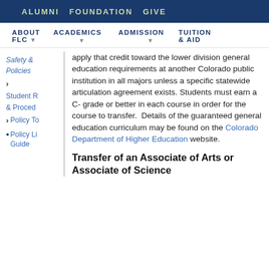ALUMNI   FOUNDATION   GIVE
ABOUT FLC   ACADEMICS   ADMISSION   TUITION & AID
Safety & Policies
Student R & Proced
Policy To
Policy Li Guide
apply that credit toward the lower division general education requirements at another Colorado public institution in all majors unless a specific statewide articulation agreement exists. Students must earn a C- grade or better in each course in order for the course to transfer.  Details of the guaranteed general education curriculum may be found on the Colorado Department of Higher Education website.
Transfer of an Associate of Arts or Associate of Science